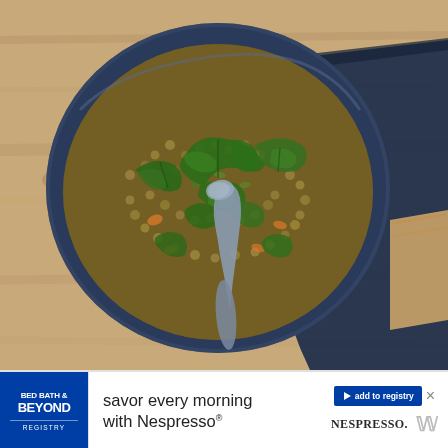[Figure (photo): Overhead view of a blue ceramic bowl filled with lentil soup with wilted spinach leaves on top, a metal spoon resting in the bowl, placed on a wooden surface with a dark blue cloth napkin. The soup appears hearty with visible lentils, carrots, and celery in a thick broth.]
[Figure (infographic): Advertisement banner for Bed Bath & Beyond Registry featuring Nespresso. Left: blue Bed Bath & Beyond Registry logo block. Center: text 'savor every morning with Nespresso®'. Right: blue 'add to registry' button with play/sponsored icon, an X close button, Nespresso logo text, and a stylized W logo.]